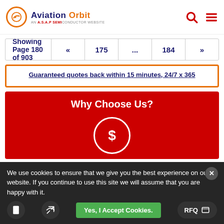Aviation Orbit — AN A.S.A.P SEMICONDUCTOR WEBSITE
Showing Page 180 of 903  «  175  ...  184  »
Guaranteed quotes back within 15 minutes, 24/7 x 365
Why Choose Us?
[Figure (illustration): Dollar sign icon in white circle on red background]
We use cookies to ensure that we give you the best experience on our website. If you continue to use this site we will assume that you are happy with it.
Yes, I Accept Cookies.